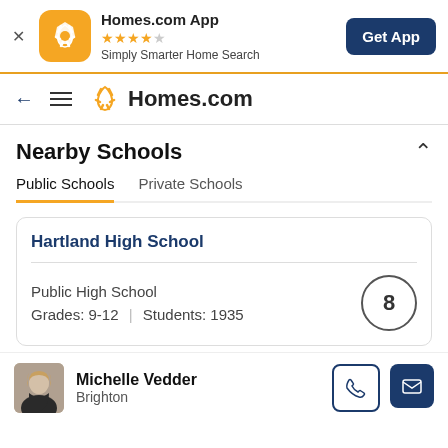[Figure (screenshot): Homes.com app banner with orange icon, star rating, and Get App button]
[Figure (logo): Homes.com navigation bar with back arrow, hamburger menu, and Homes.com logo]
Nearby Schools
Public Schools	Private Schools
Hartland High School
Public High School
Grades: 9-12 | Students: 1935
Michelle Vedder
Brighton